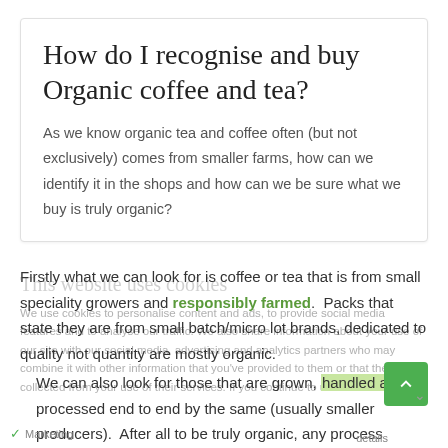How do I recognise and buy Organic coffee and tea?
As we know organic tea and coffee often (but not exclusively) comes from smaller farms, how can we identify it in the shops and how can we be sure what we buy is truly organic?
Firstly what we can look for is coffee or tea that is from small speciality growers and responsibly farmed.  Packs that state they are from small batch/micro lot brands, dedicated to quality not quantity are mostly organic.
We can also look for those that are grown, handled and processed end to end by the same (usually smaller producers).  After all to be truly organic, any process